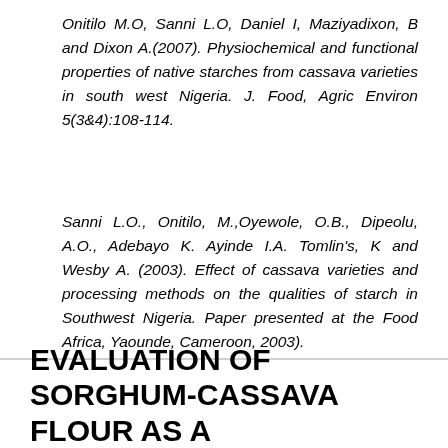Onitilo M.O, Sanni L.O, Daniel I, Maziyadixon, B and Dixon A.(2007). Physiochemical and functional properties of native starches from cassava varieties in south west Nigeria. J. Food, Agric Environ 5(3&4):108-114.
Sanni L.O., Onitilo, M.,Oyewole, O.B., Dipeolu, A.O., Adebayo K. Ayinde I.A. Tomlin's, K and Wesby A. (2003). Effect of cassava varieties and processing methods on the qualities of starch in Southwest Nigeria. Paper presented at the Food Africa, Yaounde, Cameroon, 2003).
EVALUATION OF SORGHUM-CASSAVA FLOUR AS A